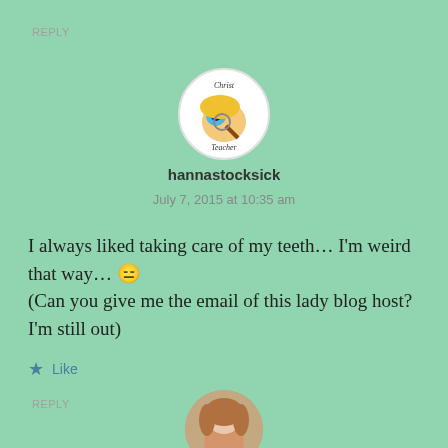REPLY
[Figure (illustration): Circular avatar showing a cartoon illustration of a woman with magnifying glass. Text 'Christ Teacher' appears on the avatar.]
hannastocksick
July 7, 2015 at 10:35 am
I always liked taking care of my teeth… I'm weird that way… 😑 (Can you give me the email of this lady blog host? I'm still out)
★ Like
REPLY
[Figure (photo): Partial circular avatar showing a person with brown/reddish hair, cropped at bottom of page.]